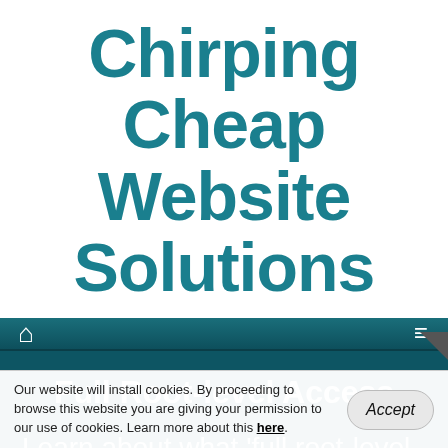Chirping Cheap Website Solutions
🏠  ≡
Full Root-level Access
Learn about what 'full root-level access' means, what privileges
Our website will install cookies. By proceeding to browse this website you are giving your permission to our use of cookies. Learn more about this here.